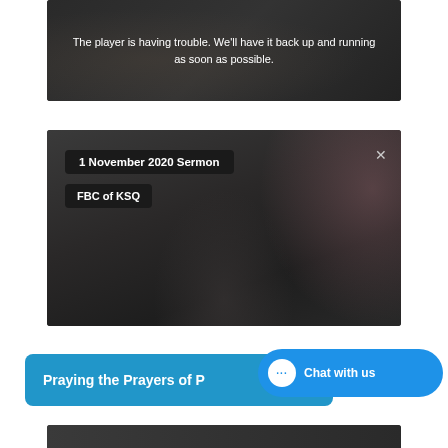[Figure (screenshot): Video player in error state with dark background and text overlay reading: The player is having trouble. We'll have it back up and running as soon as possible.]
[Figure (screenshot): Video player showing a sermon video titled '1 November 2020 Sermon' from 'FBC of KSQ', with dark/blurry video frame, a close (X) button in top right corner.]
Praying the Prayers of P
Chat with us